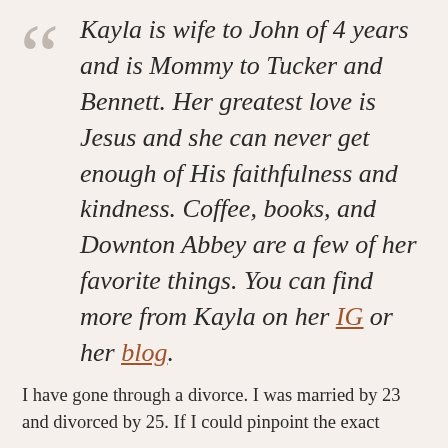Kayla is wife to John of 4 years and is Mommy to Tucker and Bennett. Her greatest love is Jesus and she can never get enough of His faithfulness and kindness. Coffee, books, and Downton Abbey are a few of her favorite things. You can find more from Kayla on her IG or her blog.
I have gone through a divorce. I was married by 23 and divorced by 25. If I could pinpoint the exact